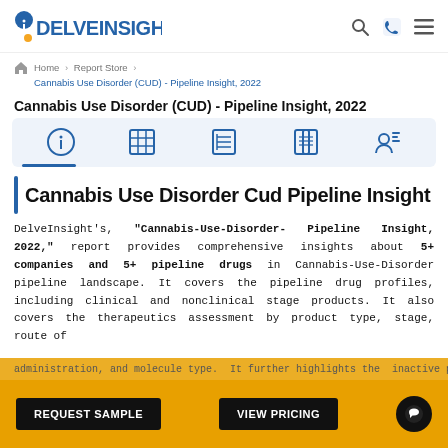[Figure (logo): DelveInsight logo with blue text and orange D accent, search, phone, and menu icons on the right]
Home > Report Store > Cannabis Use Disorder (CUD) - Pipeline Insight, 2022
Cannabis Use Disorder (CUD) - Pipeline Insight, 2022
[Figure (infographic): Icon bar with five icons: info, table/grid, list, document, and person/profile icons on a light blue background]
Cannabis Use Disorder Cud Pipeline Insight
DelveInsight's, "Cannabis-Use-Disorder- Pipeline Insight, 2022," report provides comprehensive insights about 5+ companies and 5+ pipeline drugs in Cannabis-Use-Disorder pipeline landscape. It covers the pipeline drug profiles, including clinical and nonclinical stage products. It also covers the therapeutics assessment by product type, stage, route of
administration, and molecule type. It further highlights the inactive players operating in this space.
[Figure (infographic): CTA bar with REQUEST SAMPLE and VIEW PRICING buttons on gold/orange background with chat bubble icon]